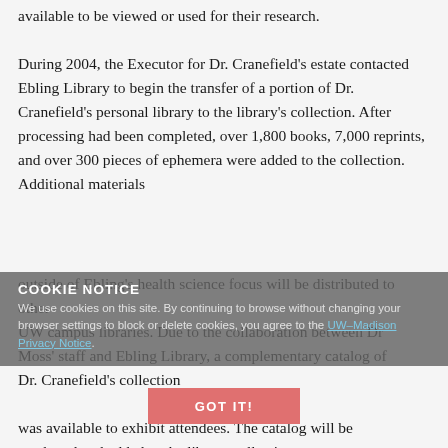available to be viewed or used for their research.
During 2004, the Executor for Dr. Cranefield's estate contacted Ebling Library to begin the transfer of a portion of Dr. Cranefield's personal library to the library's collection. After processing had been completed, over 1,800 books, 7,000 reprints, and over 300 pieces of ephemera were added to the collection. Additional materials outside of Ebling's health science focus will be distributed to other UW campus libraries. Due to the collaboration between Dr Moss' staff and Ebling Library, a complementary catalog of Dr. Cranefield's collection was available to exhibit attendees. The catalog will be cataloged and added to the library collection so anyone may
COOKIE NOTICE
We use cookies on this site. By continuing to browse without changing your browser settings to block or delete cookies, you agree to the UW–Madison Privacy Notice.